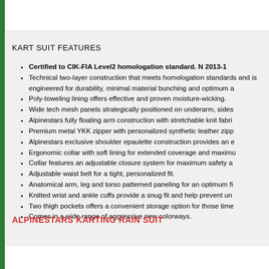KART SUIT FEATURES
Certified to CIK-FIA Level2 homologation standard. N 2013-1
Technical two-layer construction that meets homologation standards and is engineered for durability, minimal material bunching and optimum a
Poly-toweling lining offers effective and proven moisture-wicking.
Wide tech mesh panels strategically positioned on underarm, sides
Alpinestars fully floating arm construction with stretchable knit fabri
Premium metal YKK zipper with personalized synthetic leather zipp
Alpinestars exclusive shoulder epaulette construction provides an e
Ergonomic collar with soft lining for extended coverage and maximu
Collar features an adjustable closure system for maximum safety a
Adjustable waist belt for a tight, personalized fit.
Anatomical arm, leg and torso patterned paneling for an optimum fi
Knitted wrist and ankle cuffs provide a snug fit and help prevent un
Two thigh pockets offers a convenient storage option for those time
Comes in a wide range of aggressive new colorways.
ALPINESTARS KARTING RAIN SUIT